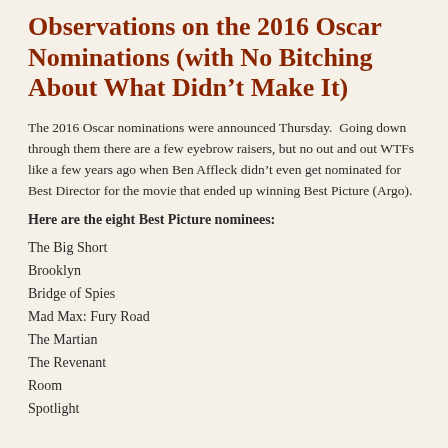Observations on the 2016 Oscar Nominations (with No Bitching About What Didn’t Make It)
The 2016 Oscar nominations were announced Thursday.  Going down through them there are a few eyebrow raisers, but no out and out WTFs like a few years ago when Ben Affleck didn’t even get nominated for Best Director for the movie that ended up winning Best Picture (Argo).
Here are the eight Best Picture nominees:
The Big Short
Brooklyn
Bridge of Spies
Mad Max: Fury Road
The Martian
The Revenant
Room
Spotlight